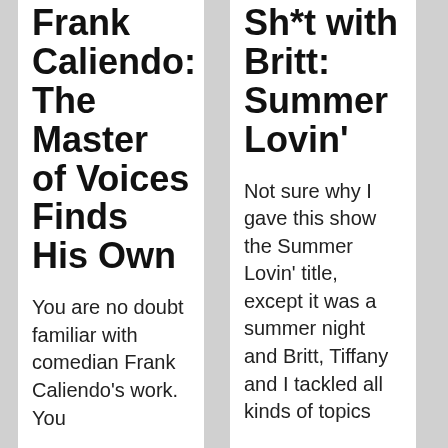Frank Caliendo: The Master of Voices Finds His Own
You are no doubt familiar with comedian Frank Caliendo's work. You
Sh*t with Britt: Summer Lovin'
Not sure why I gave this show the Summer Lovin' title, except it was a summer night and Britt, Tiffany and I tackled all kinds of topics